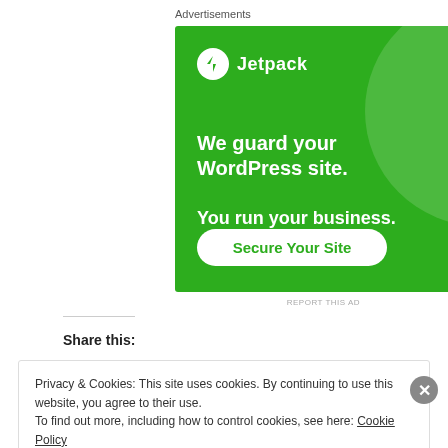Advertisements
[Figure (screenshot): Jetpack advertisement banner on green background. Shows Jetpack logo (lightning bolt in circle), text 'We guard your WordPress site. You run your business.' and a white 'Secure Your Site' button.]
REPORT THIS AD
Share this:
Privacy & Cookies: This site uses cookies. By continuing to use this website, you agree to their use.
To find out more, including how to control cookies, see here: Cookie Policy